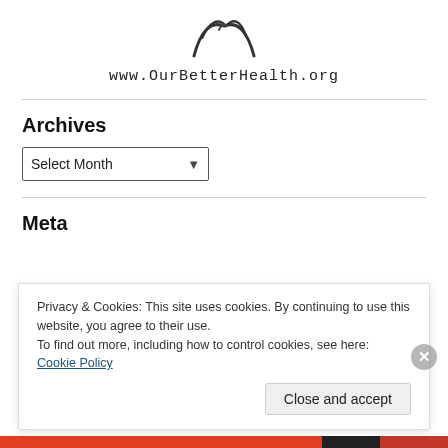[Figure (logo): Partial logo/illustration of OurBetterHealth.org at top center]
www.OurBetterHealth.org
Archives
Select Month
Meta
Privacy & Cookies: This site uses cookies. By continuing to use this website, you agree to their use.
To find out more, including how to control cookies, see here: Cookie Policy
Close and accept